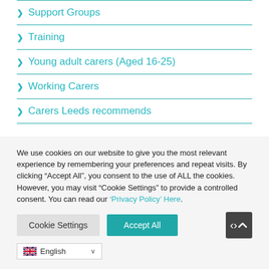> Support Groups
> Training
> Young adult carers (Aged 16-25)
> Working Carers
> Carers Leeds recommends
We use cookies on our website to give you the most relevant experience by remembering your preferences and repeat visits. By clicking “Accept All”, you consent to the use of ALL the cookies. However, you may visit "Cookie Settings" to provide a controlled consent. You can read our ‘Privacy Policy’ Here.
Cookie Settings | Accept All | English